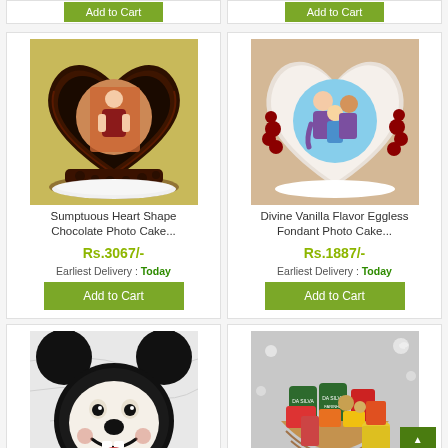[Figure (photo): Top partial view of two Add to Cart buttons from previous product cards]
[Figure (photo): Heart-shaped chocolate photo cake with a man's photo printed on it, on a beige/yellow background]
Sumptuous Heart Shape Chocolate Photo Cake...
Rs.3067/-
Earliest Delivery : Today
Add to Cart
[Figure (photo): Heart-shaped white fondant photo cake with a family photo (woman, boy, girl) printed on it, decorated with flowers]
Divine Vanilla Flavor Eggless Fondant Photo Cake...
Rs.1887/-
Earliest Delivery : Today
Add to Cart
[Figure (photo): Mickey Mouse shaped cake with classic Mickey Mouse face design on white marble background]
[Figure (photo): Gift basket with various snack foods, chips and canned goods on decorative background]